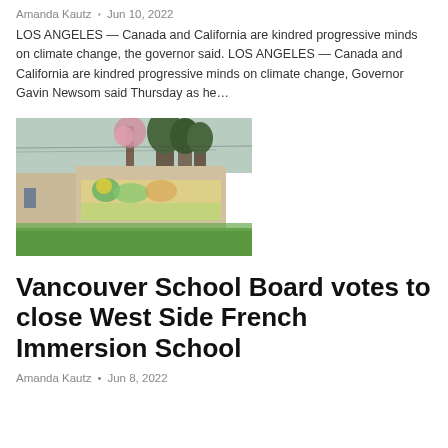Amanda Kautz  •  Jun 10, 2022
LOS ANGELES — Canada and California are kindred progressive minds on climate change, the governor said. LOS ANGELES — Canada and California are kindred progressive minds on climate change, Governor Gavin Newsom said Thursday as he…
[Figure (photo): Exterior of a school building with a colorful mural on the wall, surrounded by trees and green grass. Cherry blossom trees visible in background.]
Vancouver School Board votes to close West Side French Immersion School
Amanda Kautz  •  Jun 8, 2022